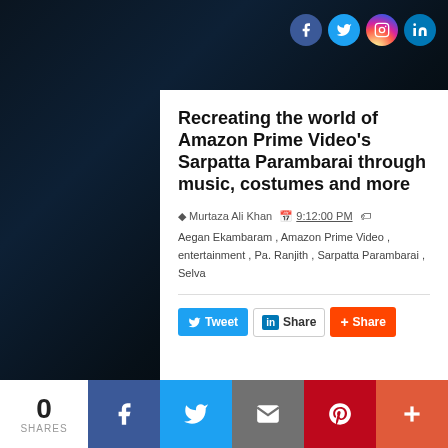[Figure (screenshot): Social media icons top right: Facebook (blue circle), Twitter (light blue circle), Instagram (gradient circle), LinkedIn (blue circle)]
Recreating the world of Amazon Prime Video's Sarpatta Parambarai through music, costumes and more
Murtaza Ali Khan  9:12:00 PM
Aegan Ekambaram , Amazon Prime Video , entertainment , Pa. Ranjith , Sarpatta Parambarai , Selva
[Figure (infographic): Share buttons: Tweet (blue), Share via LinkedIn (white/blue), Share via reddit/plus (orange-red)]
0 SHARES
[Figure (infographic): Bottom social sharing bar with Facebook, Twitter, Email, Pinterest, and More buttons]